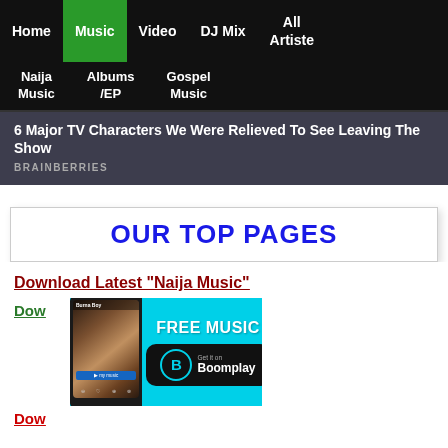Home | Music | Video | DJ Mix | All Artiste
Naija Music | Albums /EP | Gospel Music
6 Major TV Characters We Were Relieved To See Leaving The Show
BRAINBERRIES
OUR TOP PAGES
Download Latest "Naija Music"
Dow...
[Figure (screenshot): Boomplay music app advertisement banner showing FREE MUSIC and Get it on Boomplay with a phone screenshot of Burna Boy]
Dow... (Download Latest ... Music)